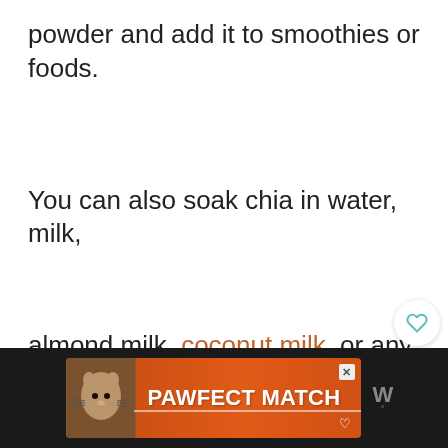powder and add it to smoothies or foods.
You can also soak chia in water, milk,
almond milk, coconut milk, or any other
liquid of your choice.
[Figure (screenshot): PAWFECT MATCH advertisement banner with a cat image on an orange-red background, with an X close button.]